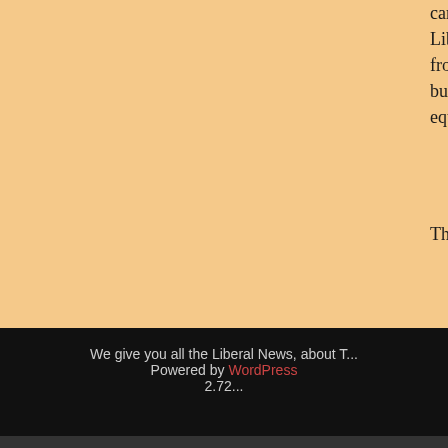carbon tax really would make fossil economy standard, drilling technically redundant. Liberals won't give up, but that's something the U.S. should be doing regardless the revenue from a carbon tax. But while state-by-s... federal carbon tax would make life simpler for busi... goal to be hit by reducing payroll taxes — the form... working class — an equivalent amount.
The post Three Things Conservatives Wrote This W... ThinkProgress.
Comments Off on The Unexpected Dark Side...
« Prev
Ne...
We give you all the Liberal News, about T... Powered by WordPress 2.72...